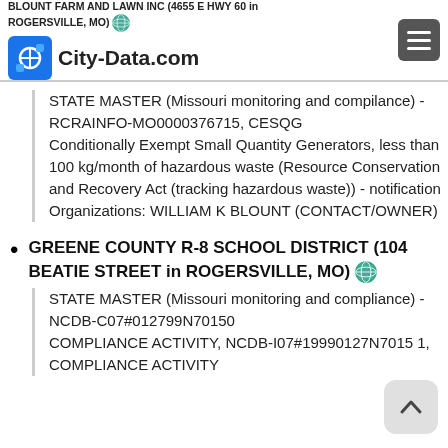BLOUNT FARM AND LAWN INC (4655 E HWY 60 in ROGERSVILLE, MO) - City-Data.com
STATE MASTER (Missouri monitoring and compilance) - RCRAINFO-MO0000376715, CESQG
Conditionally Exempt Small Quantity Generators, less than 100 kg/month of hazardous waste (Resource Conservation and Recovery Act (tracking hazardous waste)) - notification Organizations: WILLIAM K BLOUNT (CONTACT/OWNER)
GREENE COUNTY R-8 SCHOOL DISTRICT (104 BEATIE STREET in ROGERSVILLE, MO)
STATE MASTER (Missouri monitoring and compliance) - NCDB-C07#012799N70150 1, COMPLIANCE ACTIVITY, NCDB-I07#19990127N7015 1, COMPLIANCE ACTIVITY